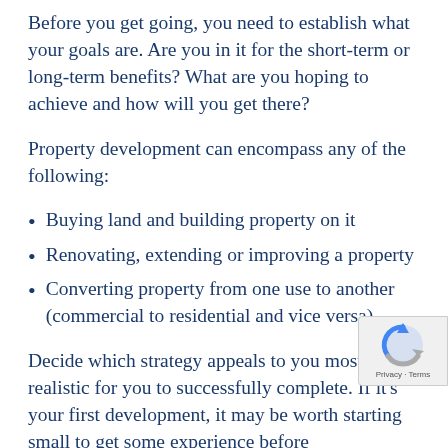Before you get going, you need to establish what your goals are. Are you in it for the short-term or long-term benefits? What are you hoping to achieve and how will you get there?
Property development can encompass any of the following:
Buying land and building property on it
Renovating, extending or improving a property
Converting property from one use to another (commercial to residential and vice versa)
Decide which strategy appeals to you most and is realistic for you to successfully complete. If it's your first development, it may be worth starting small to get some experience before...